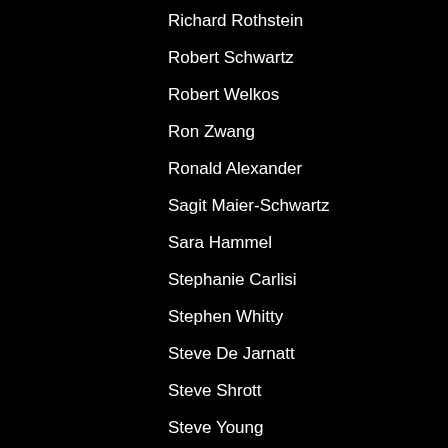Richard Rothstein
Robert Schwartz
Robert Welkos
Ron Zwang
Ronald Alexander
Sagit Maier-Schwartz
Sara Hammel
Stephanie Carlisi
Stephen Whitty
Steve De Jarnatt
Steve Shrott
Steve Young
Steven Axelrod
Steven Mallas
Stewart Nan